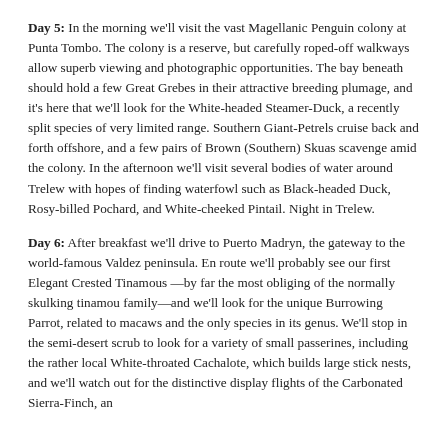Day 5: In the morning we'll visit the vast Magellanic Penguin colony at Punta Tombo. The colony is a reserve, but carefully roped-off walkways allow superb viewing and photographic opportunities. The bay beneath should hold a few Great Grebes in their attractive breeding plumage, and it's here that we'll look for the White-headed Steamer-Duck, a recently split species of very limited range. Southern Giant-Petrels cruise back and forth offshore, and a few pairs of Brown (Southern) Skuas scavenge amid the colony. In the afternoon we'll visit several bodies of water around Trelew with hopes of finding waterfowl such as Black-headed Duck, Rosy-billed Pochard, and White-cheeked Pintail. Night in Trelew.
Day 6: After breakfast we'll drive to Puerto Madryn, the gateway to the world-famous Valdez peninsula. En route we'll probably see our first Elegant Crested Tinamous —by far the most obliging of the normally skulking tinamou family—and we'll look for the unique Burrowing Parrot, related to macaws and the only species in its genus. We'll stop in the semi-desert scrub to look for a variety of small passerines, including the rather local White-throated Cachalote, which builds large stick nests, and we'll watch out for the distinctive display flights of the Carbonated Sierra-Finch, an